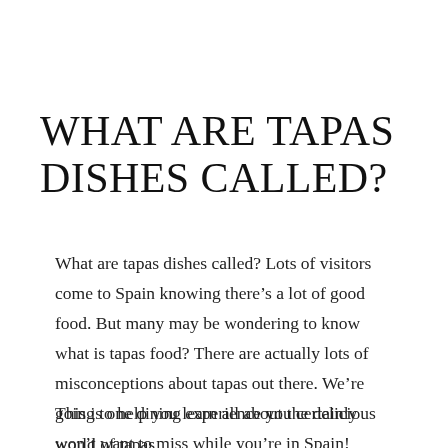WHAT ARE TAPAS DISHES CALLED?
What are tapas dishes called? Lots of visitors come to Spain knowing there’s a lot of good food. But many may be wondering to know what is tapas food? There are actually lots of misconceptions about tapas out there. We’re going to help you learn all about the delicious world of tapas.
This is one dining experience you certainly won’t want to miss while you’re in Spain! “Tapas” actually